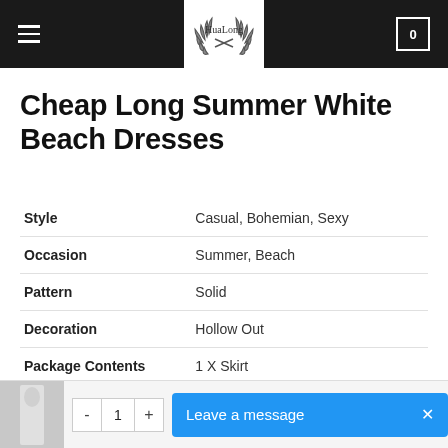HuaLong store header with logo
Cheap Long Summer White Beach Dresses
| Property | Value |
| --- | --- |
| Style | Casual, Bohemian, Sexy |
| Occasion | Summer, Beach |
| Pattern | Solid |
| Decoration | Hollow Out |
| Package Contents | 1 X Skirt |
| Brand | None |
| Item Type | Swimwear |
| Category |  |